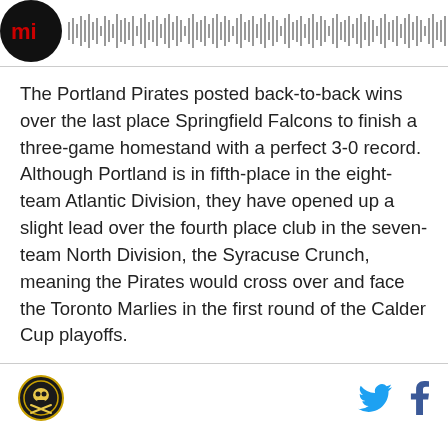[Figure (other): Podcast or audio player widget with circular dark logo on the left and audio waveform/progress bar on the right]
The Portland Pirates posted back-to-back wins over the last place Springfield Falcons to finish a three-game homestand with a perfect 3-0 record. Although Portland is in fifth-place in the eight-team Atlantic Division, they have opened up a slight lead over the fourth place club in the seven-team North Division, the Syracuse Crunch, meaning the Pirates would cross over and face the Toronto Marlies in the first round of the Calder Cup playoffs.
[Figure (logo): Circular sports team logo at bottom left and Twitter/Facebook social media icons at bottom right]